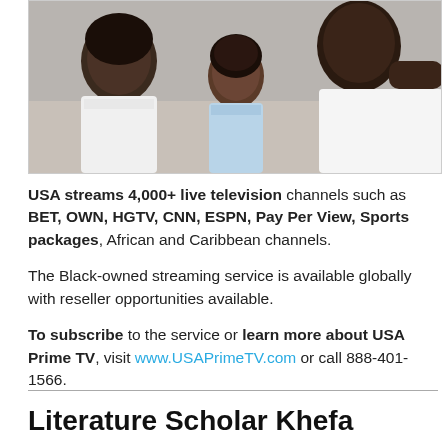[Figure (photo): A Black family — two adults and a young child — sitting together, likely watching TV. The adults are wearing white shirts and the child is in a light blue top.]
USA streams 4,000+ live television channels such as BET, OWN, HGTV, CNN, ESPN, Pay Per View, Sports packages, African and Caribbean channels.
The Black-owned streaming service is available globally with reseller opportunities available.
To subscribe to the service or learn more about USA Prime TV, visit www.USAPrimeTV.com or call 888-401-1566.
Literature Scholar Khefa